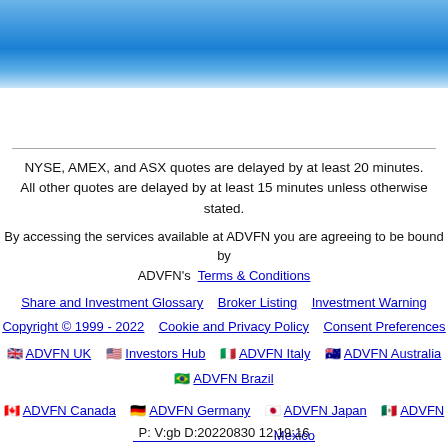[Figure (other): Blue gradient header banner at the top of the page]
NYSE, AMEX, and ASX quotes are delayed by at least 20 minutes.
All other quotes are delayed by at least 15 minutes unless otherwise stated.
By accessing the services available at ADVFN you are agreeing to be bound by ADVFN's Terms & Conditions
Share and Investment Glossary   Broker Listing   Investment Warning
Copyright © 1999 - 2022   Cookie and Privacy Policy   Consent Preferences
🇬🇧 ADVFN UK   🇺🇸 Investors Hub   🇮🇹 ADVFN Italy   🇦🇺 ADVFN Australia
🇧🇷 ADVFN Brazil
🇨🇦 ADVFN Canada   🇩🇪 ADVFN Germany   🇯🇵 ADVFN Japan   🇲🇽 ADVFN Mexico
🇫🇷 ADVFN France   🇺🇸 ADVFN US
P: V:gb D:20220830 12:19:16